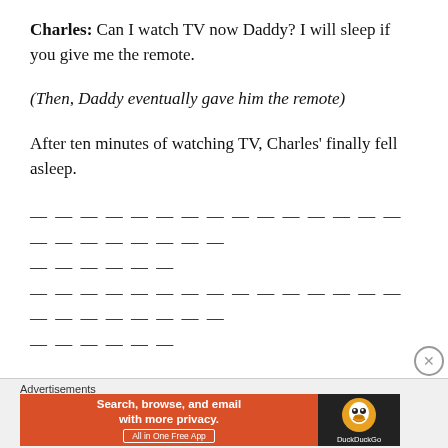Charles: Can I watch TV now Daddy? I will sleep if you give me the remote.
(Then, Daddy eventually gave him the remote)
After ten minutes of watching TV, Charles' finally fell asleep.
— — — — — — — — — — — — — — — — — — — — — — —
— — — — — —
— — — — — — — — — — — — — — — — — — — — — — —
— — — — — —
[Figure (infographic): DuckDuckGo advertisement banner: orange background with text 'Search, browse, and email with more privacy. All in One Free App' and DuckDuckGo logo on dark background on the right side.]